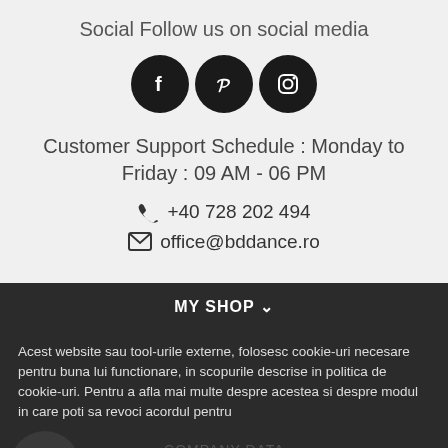Social Follow us on social media
[Figure (illustration): Three circular black social media icons: Facebook (f), Pinterest (p), and Instagram (camera)]
Customer Support Schedule : Monday to Friday : 09 AM - 06 PM
+40 728 202 494
office@bddance.ro
MY SHOP
Acest website sau tool-urile externe, folosesc cookie-uri necesare pentru buna lui functionare, in scopurile descrise in politica de cookie-uri. Pentru a afla mai multe despre acestea si despre modul in care poti sa revoci acordul pentru
Read more
SUNT DE ACORD